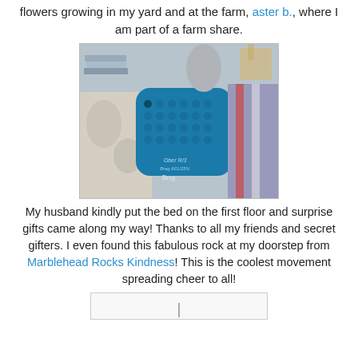flowers growing in my yard and at the farm, aster b., where I am part of a farm share.
[Figure (photo): Photo of a person's leg elevated on a bed, wearing a grey sock, with a blue textured wrap/brace (Ober brand) on the leg. Surrounding items include patterned bedding and various household items in the background.]
My husband kindly put the bed on the first floor and surprise gifts came along my way! Thanks to all my friends and secret gifters. I even found this fabulous rock at my doorstep from Marblehead Rocks Kindness! This is the coolest movement spreading cheer to all!
[Figure (other): Partially visible image at the bottom of the page, showing just the top edge with a small vertical bar.]